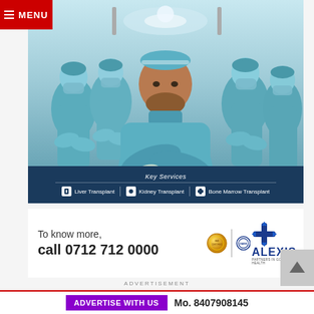[Figure (photo): Four medical professionals in blue surgical scrubs and masks standing in an operating room. Center figure is the lead surgeon facing camera with arms crossed.]
Key Services
Liver Transplant  Kidney Transplant  Bone Marrow Transplant
To know more, call 0712 712 0000
[Figure (logo): Alexis Hospital logo with blue plus/cross symbol, gold quality badge, and blue certification badge. Text: ALEXIS PARTNERS IN GOOD HEALTH]
ADVERTISEMENT
ADVERTISE WITH US  Mo. 8407908145